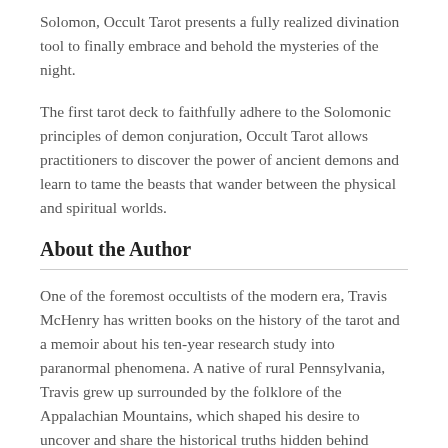Solomon, Occult Tarot presents a fully realized divination tool to finally embrace and behold the mysteries of the night.
The first tarot deck to faithfully adhere to the Solomonic principles of demon conjuration, Occult Tarot allows practitioners to discover the power of ancient demons and learn to tame the beasts that wander between the physical and spiritual worlds.
About the Author
One of the foremost occultists of the modern era, Travis McHenry has written books on the history of the tarot and a memoir about his ten-year research study into paranormal phenomena. A native of rural Pennsylvania, Travis grew up surrounded by the folklore of the Appalachian Mountains, which shaped his desire to uncover and share the historical truths hidden behind mythological stories.
He began studying the dark arts in the late 1990s when he